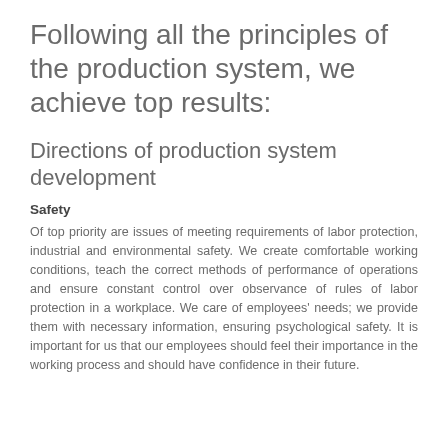Following all the principles of the production system, we achieve top results:
Directions of production system development
Safety
Of top priority are issues of meeting requirements of labor protection, industrial and environmental safety. We create comfortable working conditions, teach the correct methods of performance of operations and ensure constant control over observance of rules of labor protection in a workplace. We care of employees' needs; we provide them with necessary information, ensuring psychological safety. It is important for us that our employees should feel their importance in the working process and should have confidence in their future.